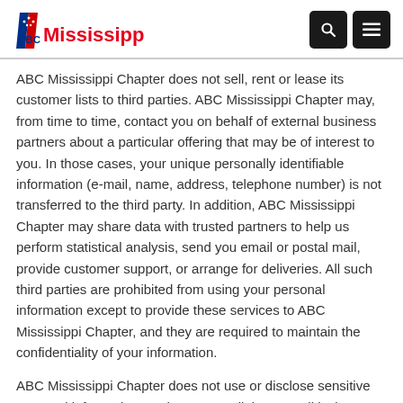ABC Mississippi
ABC Mississippi Chapter does not sell, rent or lease its customer lists to third parties. ABC Mississippi Chapter may, from time to time, contact you on behalf of external business partners about a particular offering that may be of interest to you. In those cases, your unique personally identifiable information (e-mail, name, address, telephone number) is not transferred to the third party. In addition, ABC Mississippi Chapter may share data with trusted partners to help us perform statistical analysis, send you email or postal mail, provide customer support, or arrange for deliveries. All such third parties are prohibited from using your personal information except to provide these services to ABC Mississippi Chapter, and they are required to maintain the confidentiality of your information.
ABC Mississippi Chapter does not use or disclose sensitive personal information, suchas race, religion, or political